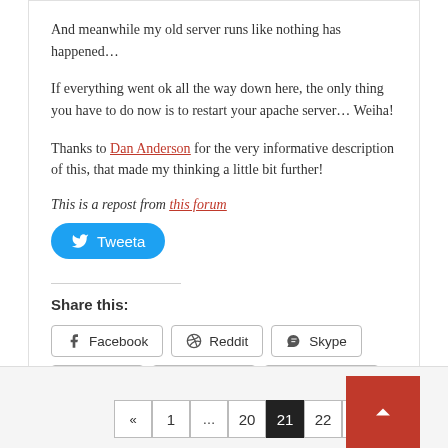And meanwhile my old server runs like nothing has happened…
If everything went ok all the way down here, the only thing you have to do now is to restart your apache server… Weiha!
Thanks to Dan Anderson for the very informative description of this, that made my thinking a little bit further!
This is a repost from this forum
[Figure (other): Twitter Tweeta button (blue rounded button with Twitter bird icon)]
Share this:
[Figure (other): Social share buttons: Facebook, Reddit, Skype, Twitter, LinkedIn, WhatsApp]
Pagination: « 1 … 20 21 22 »  and scroll-to-top button